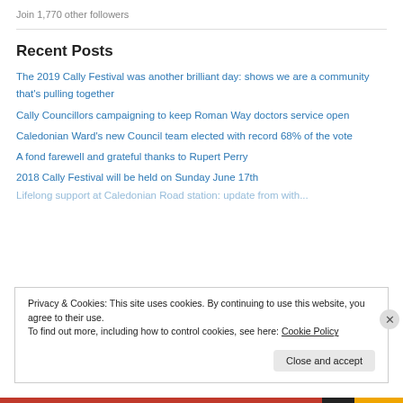Join 1,770 other followers
Recent Posts
The 2019 Cally Festival was another brilliant day: shows we are a community that's pulling together
Cally Councillors campaigning to keep Roman Way doctors service open
Caledonian Ward's new Council team elected with record 68% of the vote
A fond farewell and grateful thanks to Rupert Perry
2018 Cally Festival will be held on Sunday June 17th
Privacy & Cookies: This site uses cookies. By continuing to use this website, you agree to their use. To find out more, including how to control cookies, see here: Cookie Policy
Close and accept